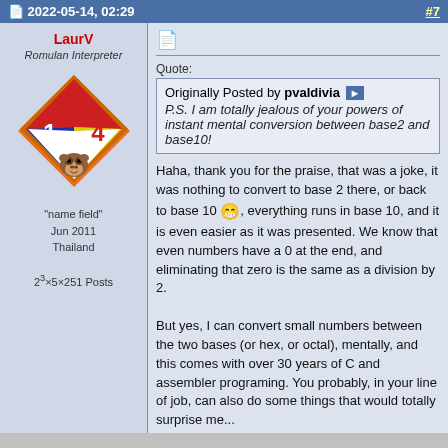2022-05-14, 02:29  #7
LaurV
Romulan Interpreter
[Figure (illustration): NFPA diamond hazard symbol with numbers 2 (red top), 1 (blue left), 4 (yellow right), and a monkey face image in white bottom section]
"name field"
Jun 2011
Thailand
2^3×5×251 Posts
Quote:
Originally Posted by pvaldivia
P.S. I am totally jealous of your powers of instant mental conversion between base2 and base10!
Haha, thank you for the praise, that was a joke, it was nothing to convert to base 2 there, or back to base 10 😁, everything runs in base 10, and it is even easier as it was presented. We know that even numbers have a 0 at the end, and eliminating that zero is the same as a division by 2.

But yes, I can convert small numbers between the two bases (or hex, or octal), mentally, and this comes with over 30 years of C and assembler programing. You probably, in your line of job, can also do some things that would totally surprise me...